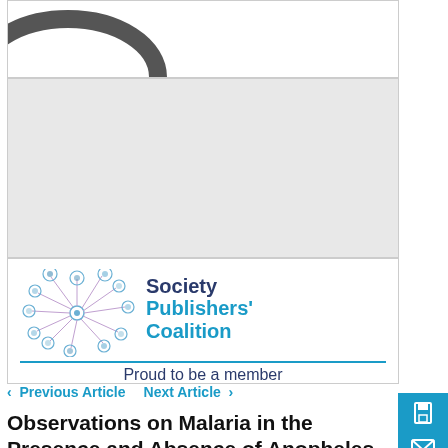[Figure (logo): Partial logo visible at top of page (cropped)]
[Figure (logo): Society Publishers' Coalition logo with dandelion-like graphic and text 'Proud to be a member']
< Previous Article   Next Article >
Observations on Malaria in the Presence and Absence of Anopheles Gambiae in an